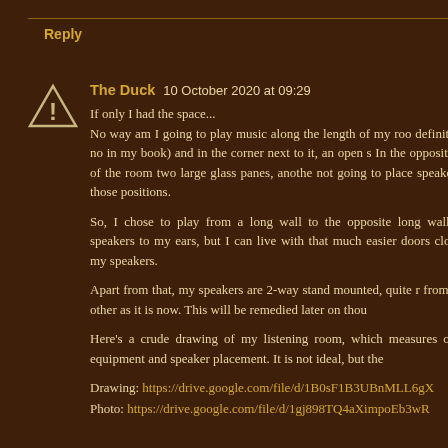Reply
The Duck  10 October 2020 at 09:29

If only I had the space...
No way am I going to play music along the length of my roo definite no-no in my book) and in the corner next to it, an open s In the opposite end of the room two large glass panes, anothe not going to place speakers in those positions.

So, I chose to play from a long wall to the opposite long wall, my speakers to my ears, but I can live with that much easier doors close to my speakers.

Apart from that, my speakers are 2-way stand mounted, quite r from each other as it is now. This will be remedied later on thou

Here's a crude drawing of my listening room, which measures of the equipment and speaker placement. It is not ideal, but the

Drawing: https://drive.google.com/file/d/1B0sF1B3UBnMLL6gX
Photo: https://drive.google.com/file/d/1gj898TQ4aXimpoEb3wR